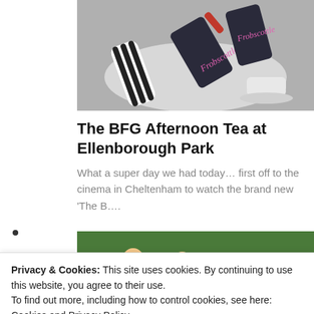[Figure (photo): Photo of BFG afternoon tea items on a plate with black and white striped items and dark tags labeled 'Frobscottle']
The BFG Afternoon Tea at Ellenborough Park
What a super day we had today... first off to the cinema in Cheltenham to watch the brand new 'The B....
[Figure (photo): Partial photo showing two children in a green outdoor setting]
Privacy & Cookies: This site uses cookies. By continuing to use this website, you agree to their use.
To find out more, including how to control cookies, see here: Cookies and Privacy Policy
Close to accept.
Mini Golf in the Cotswolds